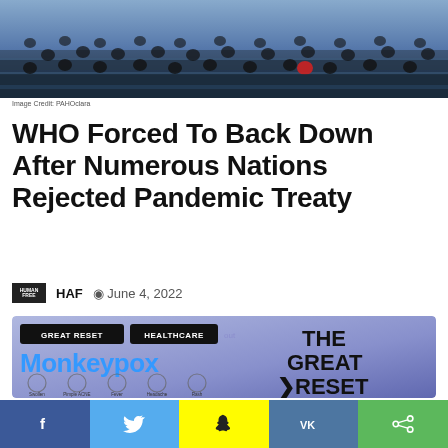[Figure (photo): Overhead view of a large conference hall with delegates seated at rows of desks, likely a WHO or UN meeting.]
Image Credit: PAHOclara
WHO Forced To Back Down After Numerous Nations Rejected Pandemic Treaty
HAF  June 4, 2022
[Figure (infographic): Composite image with black badges reading GREAT RESET and HEALTHCARE, blue Monkeypox text, THE GREAT >RESET text on right, and symptom icons along the bottom including Swollen Lymph Nodes, Pimple ACNE, Fever, Headache, Rash.]
[Figure (infographic): Social share bar with Facebook, Twitter, Snapchat, VK, and share icons.]